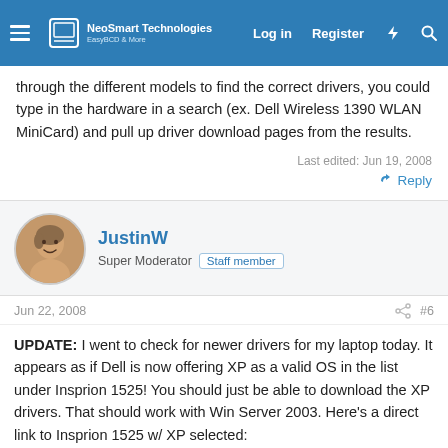NeoSmart Technologies — Log in | Register
through the different models to find the correct drivers, you could type in the hardware in a search (ex. Dell Wireless 1390 WLAN MiniCard) and pull up driver download pages from the results.
Last edited: Jun 19, 2008
Reply
JustinW
Super Moderator  Staff member
Jun 22, 2008  #6
UPDATE: I went to check for newer drivers for my laptop today. It appears as if Dell is now offering XP as a valid OS in the list under Insprion 1525! You should just be able to download the XP drivers. That should work with Win Server 2003. Here's a direct link to Insprion 1525 w/ XP selected:
http://support.dell.com/support/dow...SystemID=INS_PNT_PM_1525&hidoc=WLH&hidlang=en